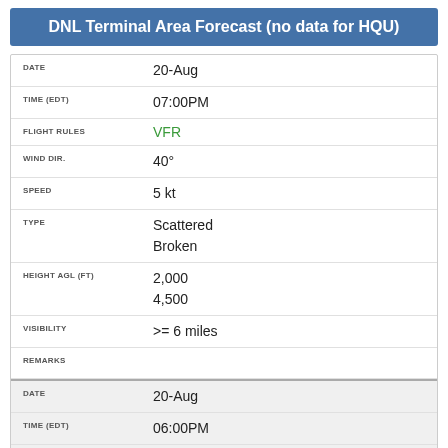DNL Terminal Area Forecast (no data for HQU)
| Field | Value |
| --- | --- |
| DATE | 20-Aug |
| TIME (EDT) | 07:00PM |
| FLIGHT RULES | VFR |
| WIND DIR. | 40° |
| SPEED | 5 kt |
| TYPE | Scattered
Broken |
| HEIGHT AGL (FT) | 2,000
4,500 |
| VISIBILITY | >= 6 miles |
| REMARKS |  |
| DATE | 20-Aug |
| TIME (EDT) | 06:00PM |
| FLIGHT RULES | VFR |
| WIND DIR. | 40° |
| SPEED | 5 kt |
| TYPE | Scattered
Broken |